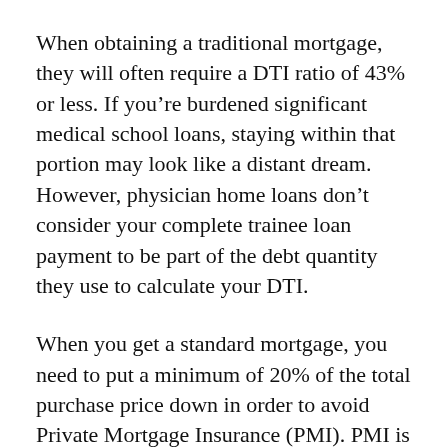When obtaining a traditional mortgage, they will often require a DTI ratio of 43% or less. If you're burdened significant medical school loans, staying within that portion may look like a distant dream. However, physician home loans don't consider your complete trainee loan payment to be part of the debt quantity they use to calculate your DTI.
When you get a standard mortgage, you need to put a minimum of 20% of the total purchase price down in order to avoid Private Mortgage Insurance (PMI). PMI is a regular monthly premium tacked onto your overall mortgage payment that's meant to safeguard your lending institution in case you can't pay. If you have a low deposit, you might be viewed as a “dangerous” debtor. In these cases,